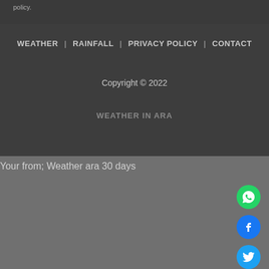policy.
WEATHER | RAINFALL | PRIVACY POLICY | CONTACT
Copyright © 2022
WEATHER IN ARA
Your from; Weather ara 30 days
[Figure (infographic): Social media icons: WhatsApp (green circle), Facebook (blue circle with f), Twitter (blue circle with bird)]